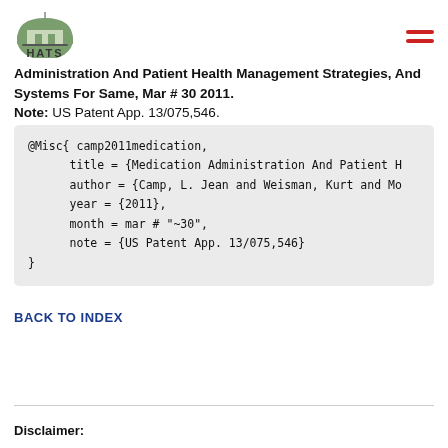HATS
Administration And Patient Health Management Strategies, And Systems For Same, Mar # 30 2011.
Note: US Patent App. 13/075,546.
@Misc{ camp2011medication,
      title = {Medication Administration And Patient H
      author = {Camp, L. Jean and Weisman, Kurt and Mo
      year = {2011},
      month = mar # "~30",
      note = {US Patent App. 13/075,546}
}
BACK TO INDEX
Disclaimer: